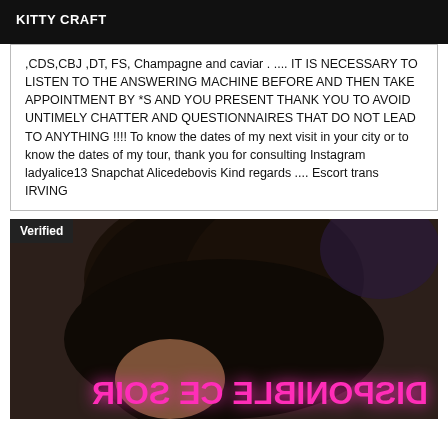KITTY CRAFT
,CDS,CBJ ,DT, FS, Champagne and caviar . .... IT IS NECESSARY TO LISTEN TO THE ANSWERING MACHINE BEFORE AND THEN TAKE APPOINTMENT BY *S AND YOU PRESENT THANK YOU TO AVOID UNTIMELY CHATTER AND QUESTIONNAIRES THAT DO NOT LEAD TO ANYTHING !!!! To know the dates of my next visit in your city or to know the dates of my tour, thank you for consulting Instagram ladyalice13 Snapchat Alicedebovis Kind regards .... Escort trans IRVING
[Figure (photo): Photo of a person with long dark hair, with mirrored/reversed pink neon text reading DISPONIBLE CE SOIR at the bottom. A 'Verified' badge appears in the top-left corner.]